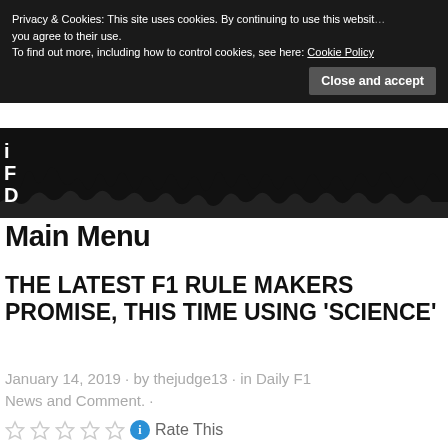Privacy & Cookies: This site uses cookies. By continuing to use this website you agree to their use. To find out more, including how to control cookies, see here: Cookie Policy
Close and accept
Main Menu
THE LATEST F1 RULE MAKERS PROMISE, THIS TIME USING 'SCIENCE'
January 14, 2019 · by thejudge13 · in Daily F1 News and Comment. ·
Rate This